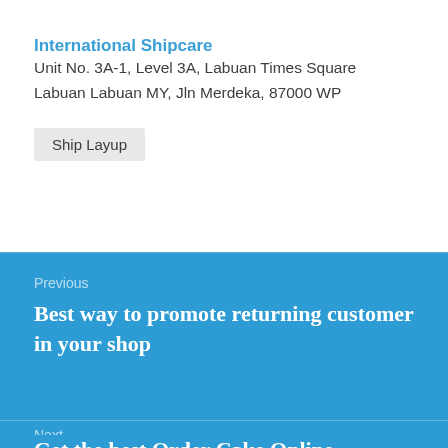International Shipcare
Unit No. 3A-1, Level 3A, Labuan Times Square
Labuan Labuan MY, Jln Merdeka, 87000 WP
Ship Layup
Previous
Best way to promote returning customer in your shop
Next
Get the best Order Cake Online